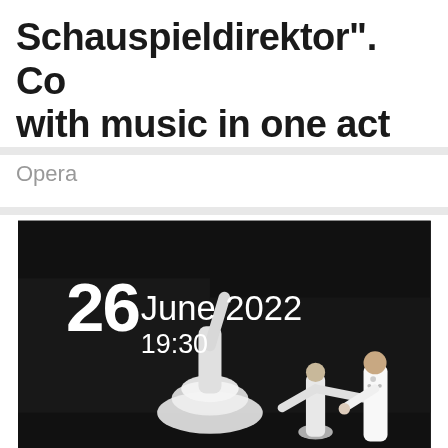Schauspieldirektor". Co... with music in one act
Opera
[Figure (photo): Ballet performance photo on dark background showing two dancers in white costumes. Date overlay reads: 26 June 2022, 19:30]